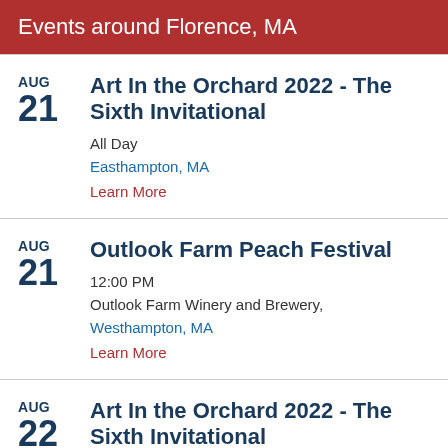Events around Florence, MA
AUG 21 – Art In the Orchard 2022 - The Sixth Invitational
All Day
Easthampton, MA
Learn More
AUG 21 – Outlook Farm Peach Festival
12:00 PM
Outlook Farm Winery and Brewery, Westhampton, MA
Learn More
AUG 22 – Art In the Orchard 2022 - The Sixth Invitational